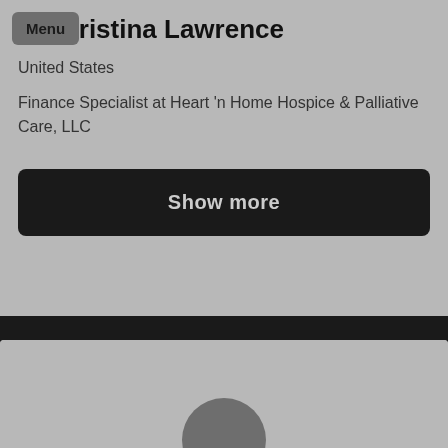Menu
Kristina Lawrence
United States
Finance Specialist at Heart 'n Home Hospice & Palliative Care, LLC
Show more
[Figure (photo): Profile photo silhouette placeholder at bottom of page]